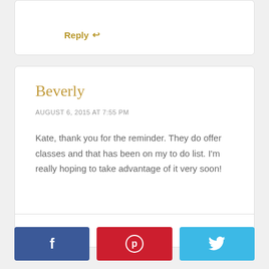Reply ↩
Beverly
AUGUST 6, 2015 AT 7:55 PM
Kate, thank you for the reminder. They do offer classes and that has been on my to do list. I'm really hoping to take advantage of it very soon!
Reply ↩
[Figure (other): Social sharing buttons: Facebook (blue), Pinterest (red), Twitter (light blue)]